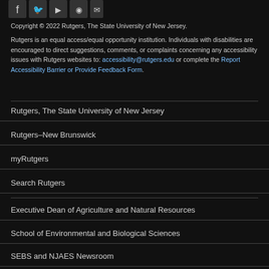[Figure (other): Social media icons row (Facebook, Twitter, YouTube, RSS, and others)]
Copyright © 2022 Rutgers, The State University of New Jersey.
Rutgers is an equal access/equal opportunity institution. Individuals with disabilities are encouraged to direct suggestions, comments, or complaints concerning any accessibility issues with Rutgers websites to: accessibility@rutgers.edu or complete the Report Accessibility Barrier or Provide Feedback Form.
Rutgers, The State University of New Jersey
Rutgers–New Brunswick
myRutgers
Search Rutgers
Executive Dean of Agriculture and Natural Resources
School of Environmental and Biological Sciences
SEBS and NJAES Newsroom